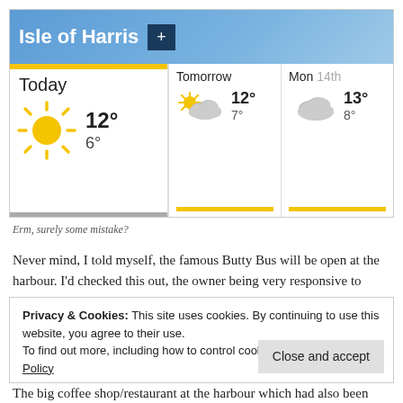[Figure (screenshot): Weather widget showing Isle of Harris weather: Today sunny 12°/6°, Tomorrow partly cloudy 12°/7°, Mon 14th cloudy 13°/8°]
Erm, surely some mistake?
Never mind, I told myself, the famous Butty Bus will be open at the harbour. I'd checked this out, the owner being very responsive to
Privacy & Cookies: This site uses cookies. By continuing to use this website, you agree to their use.
To find out more, including how to control cookies, see here: Cookie Policy
The big coffee shop/restaurant at the harbour which had also been